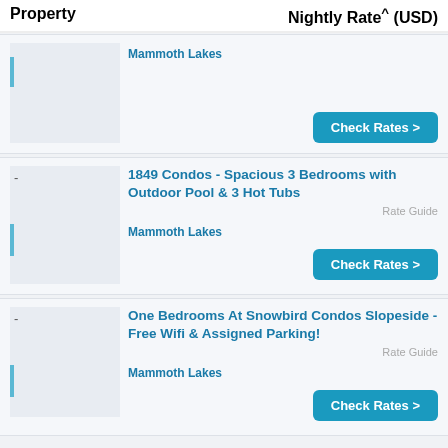Property | Nightly Rate^ (USD)
Mammoth Lakes
Check Rates >
1849 Condos - Spacious 3 Bedrooms with Outdoor Pool & 3 Hot Tubs
Rate Guide
Mammoth Lakes
Check Rates >
One Bedrooms At Snowbird Condos Slopeside - Free Wifi & Assigned Parking!
Rate Guide
Mammoth Lakes
Check Rates >